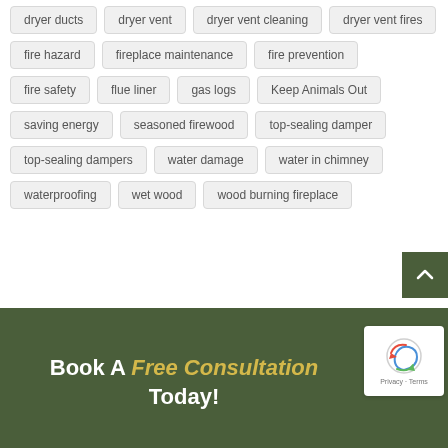dryer ducts
dryer vent
dryer vent cleaning
dryer vent fires
fire hazard
fireplace maintenance
fire prevention
fire safety
flue liner
gas logs
Keep Animals Out
saving energy
seasoned firewood
top-sealing damper
top-sealing dampers
water damage
water in chimney
waterproofing
wet wood
wood burning fireplace
Book A Free Consultation Today!